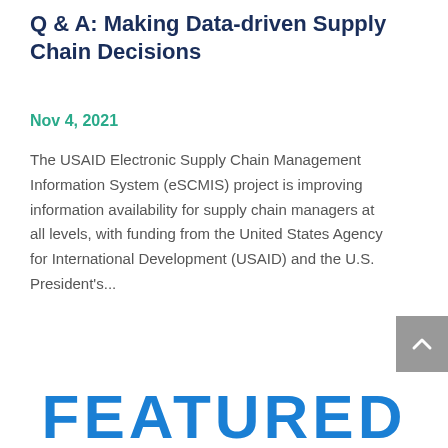Q & A: Making Data-driven Supply Chain Decisions
Nov 4, 2021
The USAID Electronic Supply Chain Management Information System (eSCMIS) project is improving information availability for supply chain managers at all levels, with funding from the United States Agency for International Development (USAID) and the U.S. President's...
FEATURED